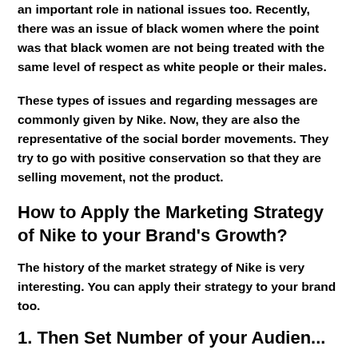an important role in national issues too. Recently, there was an issue of black women where the point was that black women are not being treated with the same level of respect as white people or their males.
These types of issues and regarding messages are commonly given by Nike. Now, they are also the representative of the social border movements. They try to go with positive conservation so that they are selling movement, not the product.
How to Apply the Marketing Strategy of Nike to your Brand's Growth?
The history of the market strategy of Nike is very interesting. You can apply their strategy to your brand too.
1. Then Set Number of your Audien...